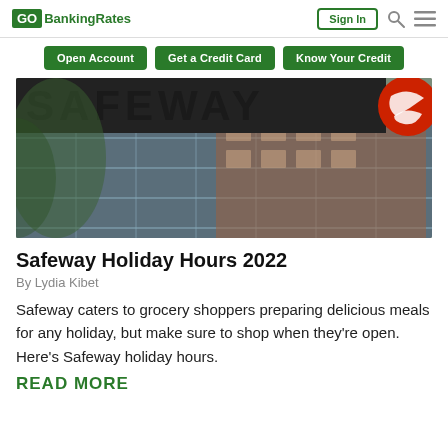GOBankingRates | Sign In
[Figure (photo): Safeway store exterior showing large SAFEWAY sign with red circular logo, glass facade reflecting a brick building]
Safeway Holiday Hours 2022
By Lydia Kibet
Safeway caters to grocery shoppers preparing delicious meals for any holiday, but make sure to shop when they're open. Here's Safeway holiday hours.
READ MORE